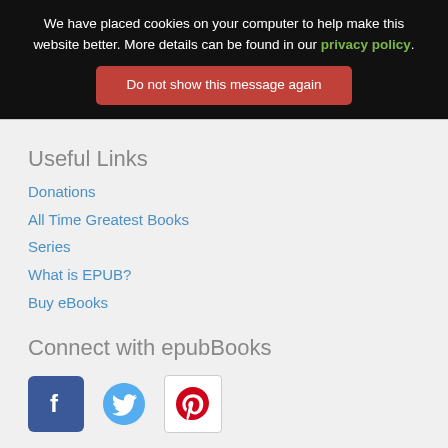We have placed cookies on your computer to help make this website better. More details can be found in our privacy policy.
Do not show this message again
Useful Links
Donations
All Time Greatest Books
Series
What is EPUB?
Buy eBooks
Connect with epubBooks
[Figure (other): Social media icons: Facebook, Twitter, Pinterest]
Company Info
About
Cookies
Terms and Conditions
Privacy